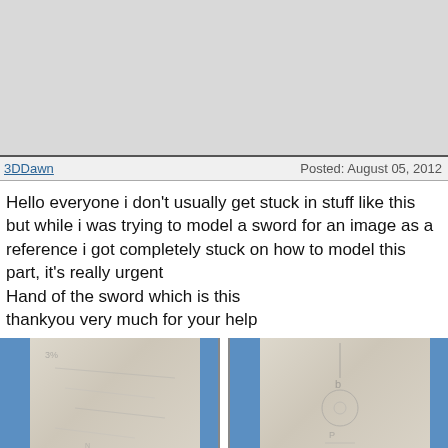[Figure (other): Advertisement or banner placeholder area, gray background]
3DDawn	Posted: August 05, 2012
Hello everyone i don't usually get stuck in stuff like this but while i was trying to model a sword for an image as a reference i got completely stuck on how to model this part, it's really urgent
Hand of the sword which is this
thankyou very much for your help
[Figure (photo): Two side-by-side reference photos of a sword handle/hand guard, each showing blue fabric on the sides and a weathered white/beige center panel with sketched markings.]